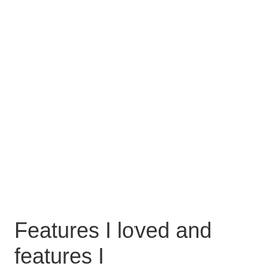Features I loved and features I